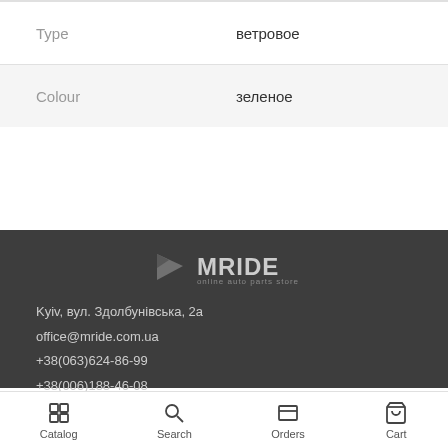| Type | ветровое |
| Colour | зеленое |
[Figure (logo): MRIDE online auto parts store logo]
Kyiv, вул. Здолбунівська, 2а
office@mride.com.ua
+38(063)624-86-99
+38(006)188-46-08
Catalog  Search  Orders  Cart